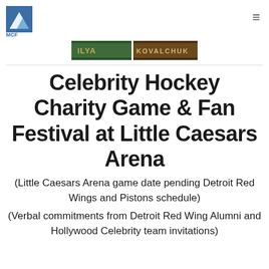MCF logo and navigation menu
[Figure (logo): ILYA KOVALCHUK style green and brown banner logo]
Celebrity Hockey Charity Game & Fan Festival at Little Caesars Arena
(Little Caesars Arena game date pending Detroit Red Wings and Pistons schedule)
(Verbal commitments from Detroit Red Wing Alumni and Hollywood Celebrity team invitations)